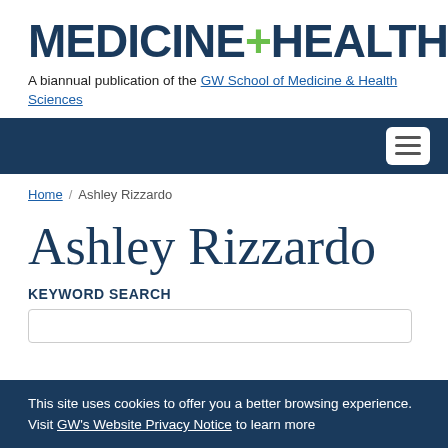MEDICINE+HEALTH
A biannual publication of the GW School of Medicine & Health Sciences
[Figure (screenshot): Dark navy navigation bar with hamburger menu button on the right]
Home / Ashley Rizzardo
Ashley Rizzardo
KEYWORD SEARCH
This site uses cookies to offer you a better browsing experience. Visit GW's Website Privacy Notice to learn more